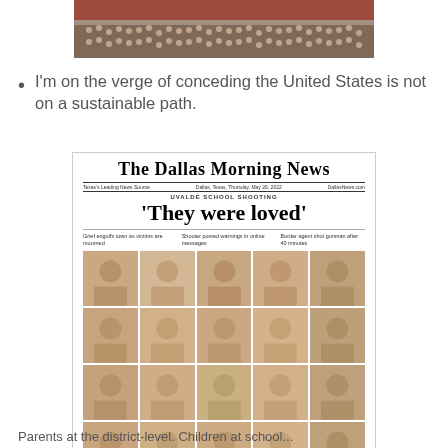[Figure (photo): Aerial or wide-angle photo of a large crowd in what appears to be a gymnasium or auditorium with red seating/bleachers]
I'm on the verge of conceding the United States is not on a sustainable path.
[Figure (photo): Front page of The Dallas Morning News newspaper featuring headline 'They were loved' about the Uvalde school shooting, with photos of victims arranged in a grid (4 rows of 5 children's photos), subheadlines: 'Grief engulfs town as victims are mourned', 'Shooter posted warnings in online messages', 'Border agent shot gunman after 40 minutes']
Parents at the district-level Children at school...